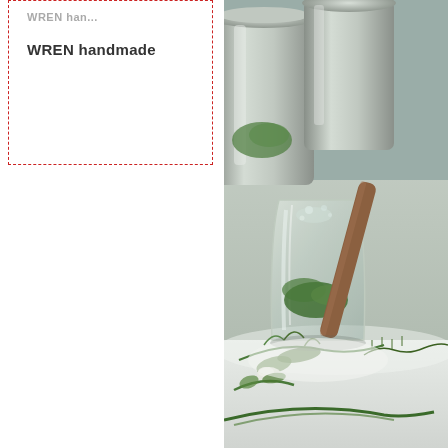WREN handmade
[Figure (photo): Close-up photo of herbs being muddled in a glass mortar with a wooden pestle, with silver/stainless steel containers in the background, and fresh green herbs and garlic scattered on a white surface in the foreground.]